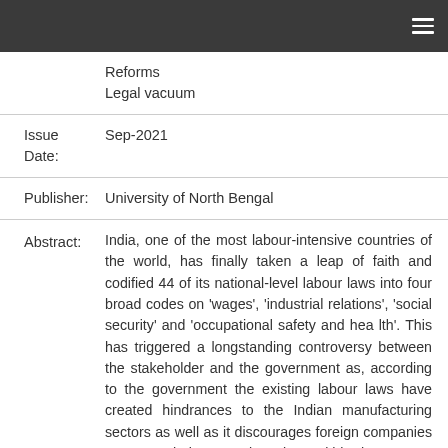|  | Reforms
Legal vacuum |
| Issue Date: | Sep-2021 |
| Publisher: | University of North Bengal |
| Abstract: | India, one of the most labour-intensive countries of the world, has finally taken a leap of faith and codified 44 of its national-level labour laws into four broad codes on 'wages', 'industrial relations', 'social security' and 'occupational safety and health'. This has triggered a longstanding controversy between the stakeholder and the government as, according to the government the existing labour laws have created hindrances to the Indian manufacturing sectors as well as it discourages foreign companies to set up their respective wings within the country. This in turn amounted to huge |